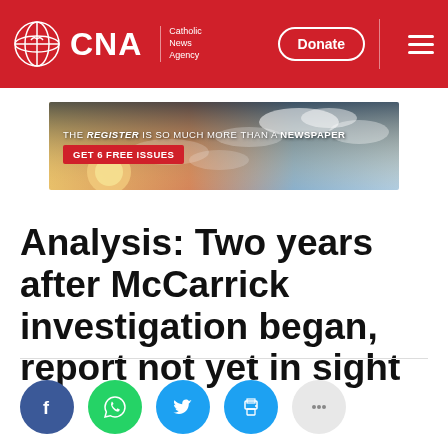CNA | Catholic News Agency
[Figure (infographic): Advertisement banner: THE REGISTER IS SO MUCH MORE THAN A NEWSPAPER. GET 6 FREE ISSUES. Red button CTA with sunset cloud sky background image.]
Analysis: Two years after McCarrick investigation began, report not yet in sight
[Figure (infographic): Social sharing icons row: Facebook (blue circle), WhatsApp (green circle), Twitter (light blue circle), Print (light blue circle), More options (grey circle with ellipsis)]